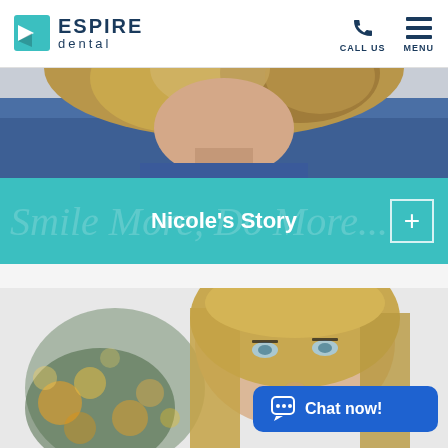ESPIRE dental — CALL US  MENU
[Figure (photo): Partial top view of a woman with blonde hair wearing a blue outfit, cropped at the top of the page as a banner image]
Nicole's Story
[Figure (photo): Smiling blonde woman with blue eyes looking upward, photographed in front of a blurred Christmas tree with bokeh lights]
Chat now!